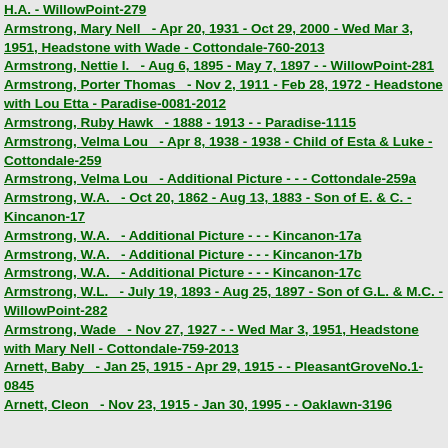H.A. - WillowPoint-279
Armstrong, Mary Nell   - Apr 20, 1931 - Oct 29, 2000 - Wed Mar 3, 1951, Headstone with Wade - Cottondale-760-2013
Armstrong, Nettie I.   - Aug 6, 1895 - May 7, 1897 - - WillowPoint-281
Armstrong, Porter Thomas   - Nov 2, 1911 - Feb 28, 1972 - Headstone with Lou Etta - Paradise-0081-2012
Armstrong, Ruby Hawk   - 1888 - 1913 - - Paradise-1115
Armstrong, Velma Lou   - Apr 8, 1938 - 1938 - Child of Esta & Luke - Cottondale-259
Armstrong, Velma Lou   - Additional Picture - - - Cottondale-259a
Armstrong, W.A.   - Oct 20, 1862 - Aug 13, 1883 - Son of E. & C. - Kincanon-17
Armstrong, W.A.   - Additional Picture - - - Kincanon-17a
Armstrong, W.A.   - Additional Picture - - - Kincanon-17b
Armstrong, W.A.   - Additional Picture - - - Kincanon-17c
Armstrong, W.L.   - July 19, 1893 - Aug 25, 1897 - Son of G.L. & M.C. - WillowPoint-282
Armstrong, Wade   - Nov 27, 1927 - - Wed Mar 3, 1951, Headstone with Mary Nell - Cottondale-759-2013
Arnett, Baby   - Jan 25, 1915 - Apr 29, 1915 - - PleasantGroveNo.1-0845
Arnett, Cleon   - Nov 23, 1915 - Jan 30, 1995 - - Oaklawn-3196